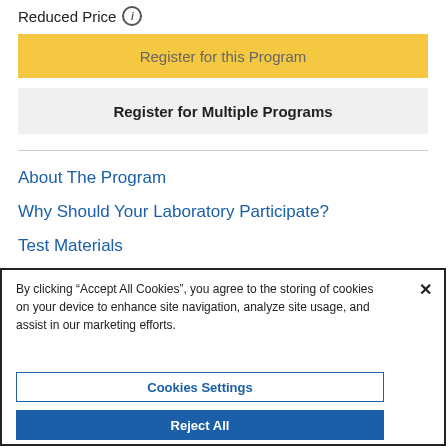Reduced Price ℹ
Register for this Program
Register for Multiple Programs
About The Program
Why Should Your Laboratory Participate?
Test Materials
By clicking "Accept All Cookies", you agree to the storing of cookies on your device to enhance site navigation, analyze site usage, and assist in our marketing efforts.
Cookies Settings
Reject All